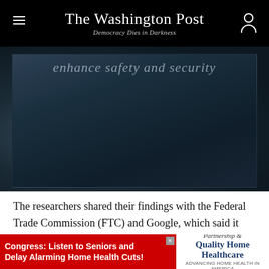The Washington Post — Democracy Dies in Darkness
[Figure (photo): Blurred/dark background image with overlaid italic text reading 'enhance safety and security']
The researchers shared their findings with the Federal Trade Commission (FTC) and Google, which said it removed the apps as of March 25. The apps can be relisted if they remove the code that collects the data, Google spokesman Scott Westover told the Journal. Some of the apps are already back on the app store.
[Figure (infographic): Advertisement banner: red background with white bold text 'Congress: Listen to Seniors and Delay Alarming Home Health Cuts!' alongside Partnership for Quality Home Healthcare logo on white]